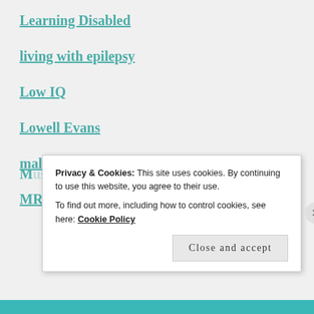Learning Disabled
living with epilepsy
Low IQ
Lowell Evans
malformations of the cerebral cortex
MRI
Privacy & Cookies: This site uses cookies. By continuing to use this website, you agree to their use.
To find out more, including how to control cookies, see here: Cookie Policy
Close and accept